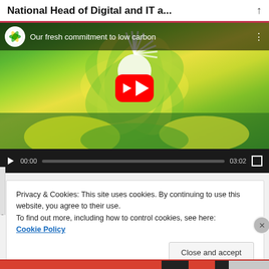National Head of Digital and IT a...
[Figure (screenshot): YouTube video embed showing BP 'Our fresh commitment to low carbon' with thumbnail of green/yellow flower petal design, play button, and video controls showing 00:00 / 03:02]
Privacy & Cookies: This site uses cookies. By continuing to use this website, you agree to their use.
To find out more, including how to control cookies, see here:
Cookie Policy
Close and accept